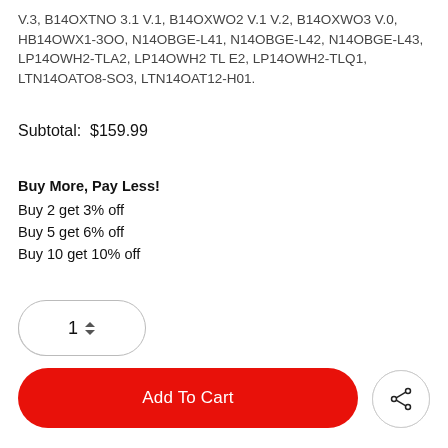V.3, B14OXTNO 3.1 V.1, B14OXWO2 V.1 V.2, B14OXWO3 V.0, HB14OWX1-3OO, N14OBGE-L41, N14OBGE-L42, N14OBGE-L43, LP14OWH2-TLA2, LP14OWH2 TLE2, LP14OWH2-TLQ1, LTN14OATO8-SO3, LTN14OAT12-H01.
Subtotal:  $159.99
Buy More, Pay Less!
Buy 2 get 3% off
Buy 5 get 6% off
Buy 10 get 10% off
[Figure (other): Quantity selector showing value 1 with up/down arrows, styled as a rounded rectangle box]
[Figure (other): Add To Cart red rounded button, heart icon button, and share icon button]